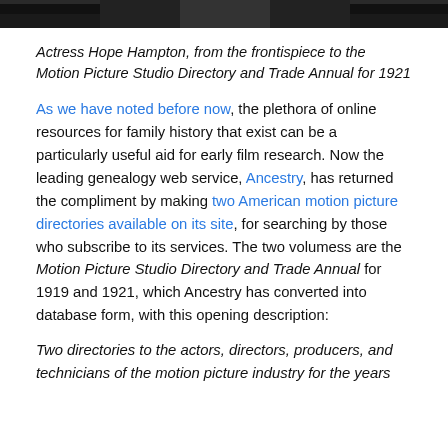[Figure (photo): Top portion of a black and white photograph of actress Hope Hampton, cropped at the top of the page.]
Actress Hope Hampton, from the frontispiece to the Motion Picture Studio Directory and Trade Annual for 1921
As we have noted before now, the plethora of online resources for family history that exist can be a particularly useful aid for early film research. Now the leading genealogy web service, Ancestry, has returned the compliment by making two American motion picture directories available on its site, for searching by those who subscribe to its services. The two volumess are the Motion Picture Studio Directory and Trade Annual for 1919 and 1921, which Ancestry has converted into database form, with this opening description:
Two directories to the actors, directors, producers, and technicians of the motion picture industry for the years